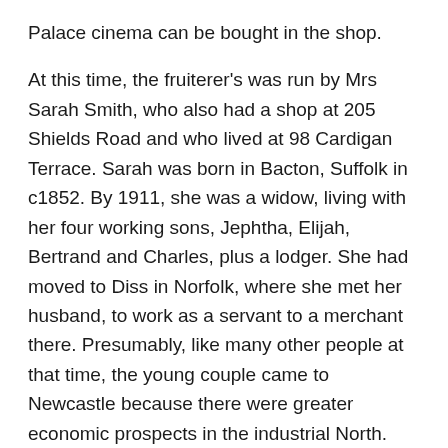Palace cinema can be bought in the shop.
At this time, the fruiterer's was run by Mrs Sarah Smith, who also had a shop at 205 Shields Road and who lived at 98 Cardigan Terrace. Sarah was born in Bacton, Suffolk in c1852. By 1911, she was a widow, living with her four working sons, Jephtha, Elijah, Bertrand and Charles, plus a lodger. She had moved to Diss in Norfolk, where she met her husband, to work as a servant to a merchant there. Presumably, like many other people at that time, the young couple came to Newcastle because there were greater economic prospects in the industrial North.
Florence's story
In 1911 Florence was living at 114 Simonside Terrace, with her mother and father and two younger brothers.